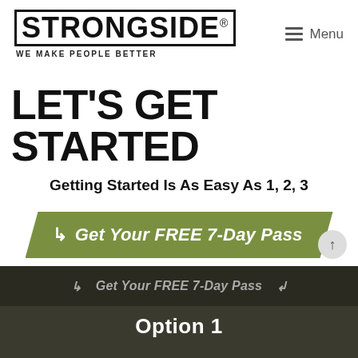[Figure (logo): Strongside logo with bold block letters and tagline 'WE MAKE PEOPLE BETTER']
[Figure (other): Hamburger menu icon with 'Menu' label]
LET'S GET STARTED
Getting Started Is As Easy As 1, 2, 3
[Figure (other): Green parallelogram-shaped CTA button: 'Get Your FREE 7-Day Pass' with arrow icon]
[Figure (other): Dark bottom bar with muted CTA text 'Get Your FREE 7-Day Pass' and partially visible 'Option 1' text]